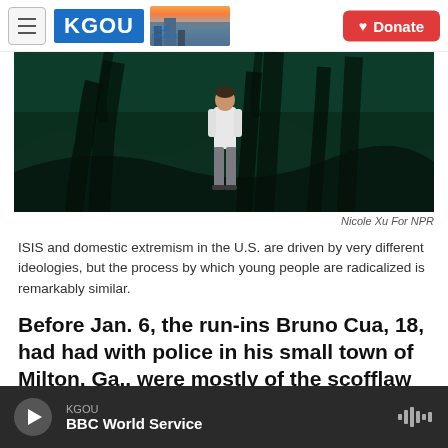KGOU — Donate
[Figure (illustration): Animated illustration showing a figure in a white shirt and gray pants standing in a dark, surreal forest landscape with shadowy tree-like forms. Used as article header image for a story about radicalization.]
Nicole Xu For NPR
ISIS and domestic extremism in the U.S. are driven by very different ideologies, but the process by which young people are radicalized is remarkably similar.
Before Jan. 6, the run-ins Bruno Cua, 18, had had with police in his small town of Milton, Ga., were mostly of the scofflaw variety.
KGOU — BBC World Service